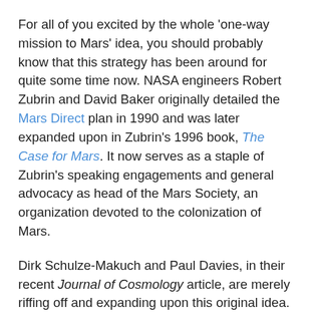For all of you excited by the whole 'one-way mission to Mars' idea, you should probably know that this strategy has been around for quite some time now. NASA engineers Robert Zubrin and David Baker originally detailed the Mars Direct plan in 1990 and was later expanded upon in Zubrin's 1996 book, The Case for Mars. It now serves as a staple of Zubrin's speaking engagements and general advocacy as head of the Mars Society, an organization devoted to the colonization of Mars.
Dirk Schulze-Makuch and Paul Davies, in their recent Journal of Cosmology article, are merely riffing off and expanding upon this original idea.
Regardless, it is a very good idea.
We already have the requisite technologies required to pull off such a mission. All we need is the will.
And finding volunteers for a one-way mission shouldn't be a problem. I'm sure there are many hopefuls chomping at the bit...